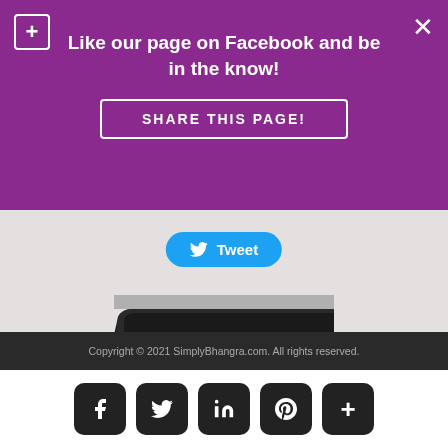Like our page on Facebook and be in the know!
SHARE THIS PAGE!
[Figure (screenshot): Tweet button (blue rounded rectangle with Twitter bird icon and 'Tweet' text)]
[Figure (logo): Partial album or logo image: black rounded shape with pink/silver detail, cropped]
"Kawan 2" by NewYork Punjabi artist Bikram Singh, which also feature the sultry vocals of Gunjan, shot to No1 position on the iTunes UK World Singles Chart, No1 on the BBC Asian Network Official UK Downloads Chart and No4 in the iTunes USA World Singles Chart on release in April. Since then
Copyright © 2021 SimplyBhangra.com. All rights reserved.
[Figure (infographic): Social media icon bar: Facebook, Twitter, LinkedIn, Pinterest, Plus buttons in dark rounded squares]